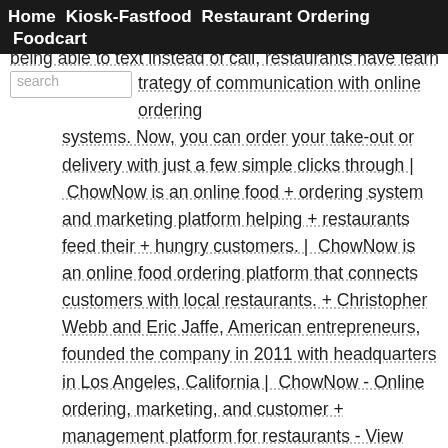Home  Kiosk-Fastfood  Restaurant Ordering  Foodcart
being able to text instead of call, restaurants have learned to strategy of communication with online ordering systems. Now, you can order your take-out or delivery with just a few simple clicks through | ChowNow is an online food + ordering system and marketing platform helping + restaurants feed their + hungry customers. | ChowNow is an online food ordering platform that connects customers with local restaurants. + Christopher Webb and Eric Jaffe, American entrepreneurs, founded the company in 2011 with headquarters in Los Angeles, California | ChowNow - Online ordering, marketing, and customer + management platform for restaurants - View company info, team members, fundraising and more | ChowNow, + the online ordering and marketing platform for restaurants, is proud to announce a new partnership with Google that brings Google Wallet to thousands of independent restaurants across the United